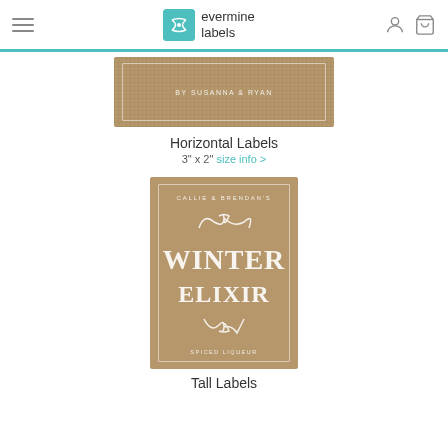evermine labels
[Figure (illustration): Horizontal burlap-textured label showing 'BY SUSANNA & RYAN' text]
Horizontal Labels
3" x 2" size info >
[Figure (illustration): Tall burlap-textured label showing 'CALLIE & BRENDAN'S WINTER ELIXIR SPICED LIQUEUR']
Tall Labels